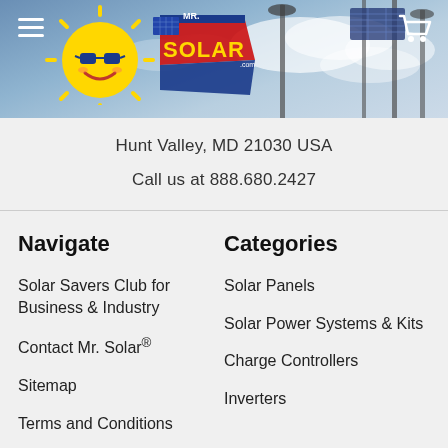[Figure (screenshot): Mr. Solar website header with logo (sun character with sunglasses, MR. SOLAR text badge), solar panel on pole visible in background, hamburger menu icon top-left, cart icon top-right, sky with clouds background]
Hunt Valley, MD 21030 USA
Call us at 888.680.2427
Navigate
Categories
Solar Savers Club for Business & Industry
Solar Panels
Contact Mr. Solar®
Solar Power Systems & Kits
Sitemap
Charge Controllers
Terms and Conditions
Inverters